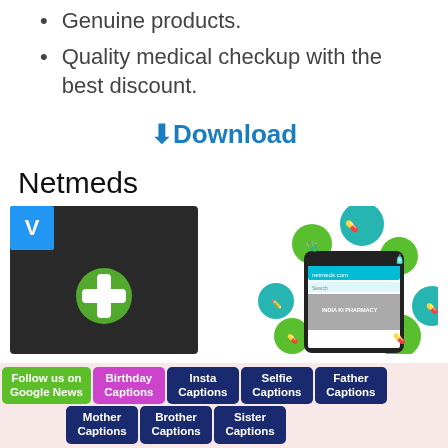Genuine products.
Quality medical checkup with the best discount.
⬇Download
Netmeds
[Figure (screenshot): Two screenshots of the Netmeds app/website: left shows the app icon with a green plus cross on dark background; right shows a smartphone displaying the Netmeds website surrounded by green and teal circular medical icons.]
Follow us on Google News
Birthday Captions
Insta Captions
Selfie Captions
Father Captions
Mother Captions
Brother Captions
Sister Captions